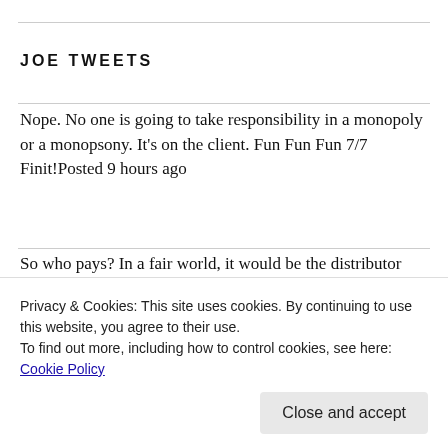JOE TWEETS
Nope. No one is going to take responsibility in a monopoly or a monopsony. It’s on the client. Fun Fun Fun 7/7 Finit!Posted 9 hours ago
So who pays? In a fair world, it would be the distributor saying, “What a mistake. We’ll make it good.” In a fair w… twitter.com/i/web/status/1…Posted 9 hours ago
We already shipped those copies per the order from our… that any… twitter.com/i/web/status/1…Posted
Privacy & Cookies: This site uses cookies. By continuing to use this website, you agree to their use.
To find out more, including how to control cookies, see here: Cookie Policy
Close and accept